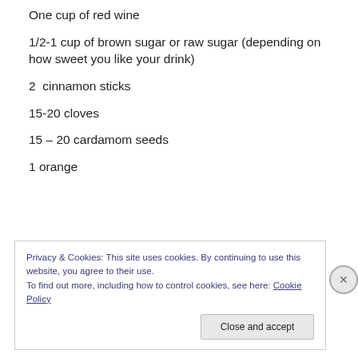One cup of red wine
1/2-1 cup of brown sugar or raw sugar (depending on how sweet you like your drink)
2  cinnamon sticks
15-20 cloves
15 – 20 cardamom seeds
1 orange
Privacy & Cookies: This site uses cookies. By continuing to use this website, you agree to their use.
To find out more, including how to control cookies, see here: Cookie Policy